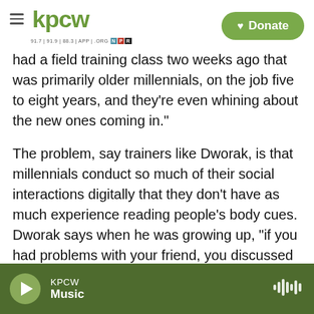KPCW | Donate
had a field training class two weeks ago that was primarily older millennials, on the job five to eight years, and they're even whining about the new ones coming in."
The problem, say trainers like Dworak, is that millennials conduct so much of their social interactions digitally that they don't have as much experience reading people's body cues. Dworak says when he was growing up, "if you had problems with your friend, you discussed it in the alley." Millennials discuss things online; but those online skills don't help much when dealing with the public
KPCW Music